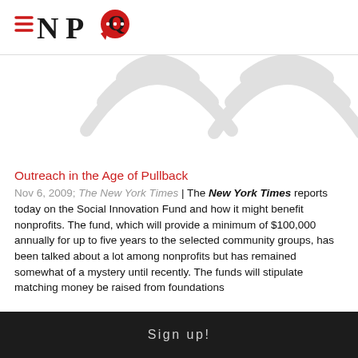NPQ
[Figure (logo): NPQ logo with hamburger menu icon, letters N P Q and a red speech bubble with three dots]
[Figure (illustration): Light grey decorative wireless/share signal arc icons as background watermark]
Outreach in the Age of Pullback
Nov 6, 2009; The New York Times | The New York Times reports today on the Social Innovation Fund and how it might benefit nonprofits. The fund, which will provide a minimum of $100,000 annually for up to five years to the selected community groups, has been talked about a lot among nonprofits but has remained somewhat of a mystery until recently. The funds will stipulate matching money be raised from foundations
Sign up!